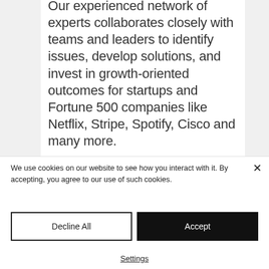Our experienced network of experts collaborates closely with teams and leaders to identify issues, develop solutions, and invest in growth-oriented outcomes for startups and Fortune 500 companies like Netflix, Stripe, Spotify, Cisco and many more.
We use cookies on our website to see how you interact with it. By accepting, you agree to our use of such cookies.
Decline All
Accept
Settings